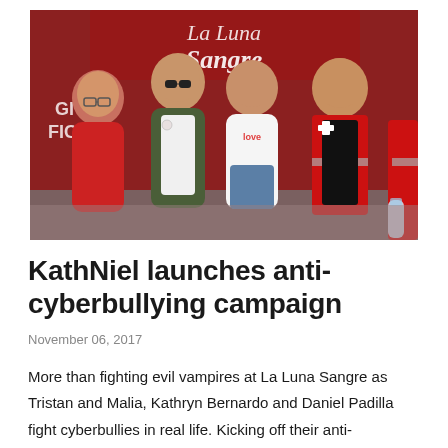[Figure (photo): Group photo of four people posing together at a La Luna Sangre event backdrop. From left: an older woman in a red top with glasses, a young man wearing sunglasses and a green jacket over a white shirt, a young woman in a white 'love' t-shirt and denim skirt, and a young man in a red cross volunteer vest over a black shirt.]
KathNiel launches anti-cyberbullying campaign
November 06, 2017
More than fighting evil vampires at La Luna Sangre as Tristan and Malia, Kathryn Bernardo and Daniel Padilla fight cyberbullies in real life. Kicking off their anti-cyberbullying